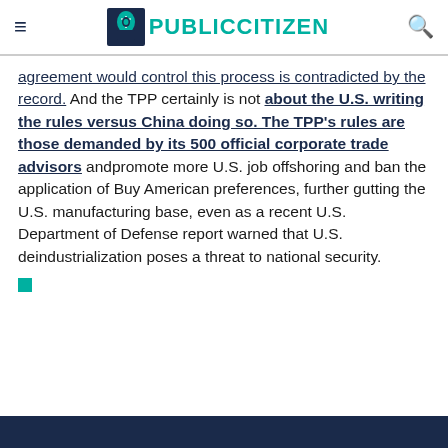Public Citizen
agreement would control this process is contradicted by the record. And the TPP certainly is not about the U.S. writing the rules versus China doing so. The TPP's rules are those demanded by its 500 official corporate trade advisors and promote more U.S. job offshoring and ban the application of Buy American preferences, further gutting the U.S. manufacturing base, even as a recent U.S. Department of Defense report warned that U.S. deindustrialization poses a threat to national security.
■